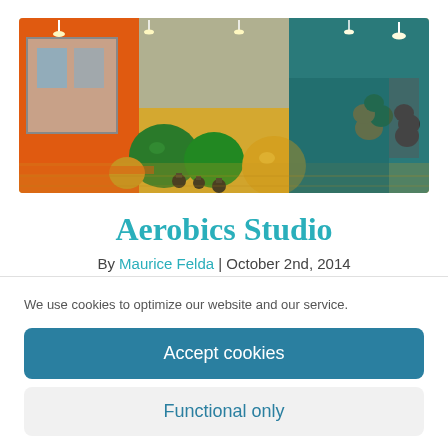[Figure (photo): Interior of an aerobics/fitness studio with orange and teal walls, wooden floor, exercise balls (green and yellow) and kettlebells scattered on the floor, mirrors on one wall.]
Aerobics Studio
By Maurice Felda | October 2nd, 2014
We use cookies to optimize our website and our service.
Accept cookies
Functional only